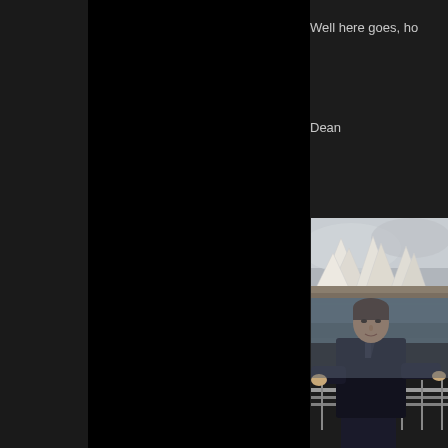Well here goes, ho
Dean
[Figure (photo): Man in dark jacket standing at railing with Sydney Opera House visible in background across water, overcast sky]